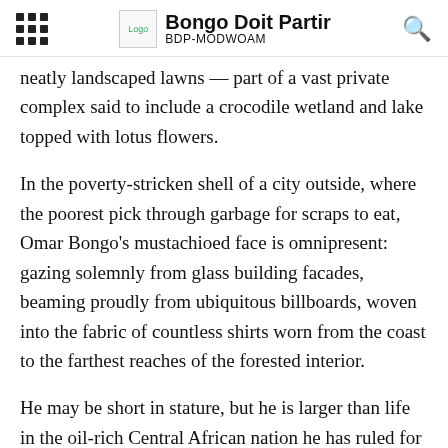Bongo Doit Partir | BDP-MODWOAM
neatly landscaped lawns — part of a vast private complex said to include a crocodile wetland and lake topped with lotus flowers.
In the poverty-stricken shell of a city outside, where the poorest pick through garbage for scraps to eat, Omar Bongo's mustachioed face is omnipresent: gazing solemnly from glass building facades, beaming proudly from ubiquitous billboards, woven into the fabric of countless shirts worn from the coast to the farthest reaches of the forested interior.
He may be short in stature, but he is larger than life in the oil-rich Central African nation he has ruled for 40 years — so long that he's the only president